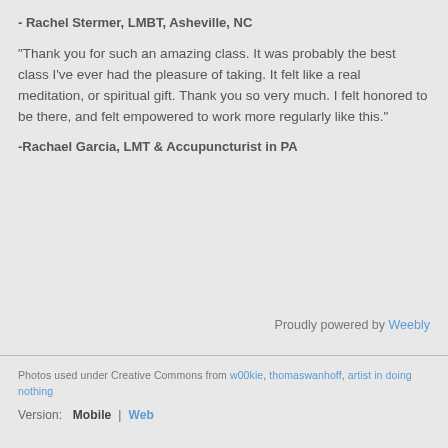- Rachel Stermer, LMBT, Asheville, NC
"Thank you for such an amazing class.  It was probably the best class I've ever had the pleasure of taking.  It felt like a real meditation, or spiritual gift.  Thank you so very much.  I felt honored to be there, and felt empowered to work more regularly like this."
-Rachael Garcia, LMT & Accupuncturist in PA
Proudly powered by Weebly
Photos used under Creative Commons from w00kie, thomaswanhoff, artist in doing nothing
Version:  Mobile  |  Web